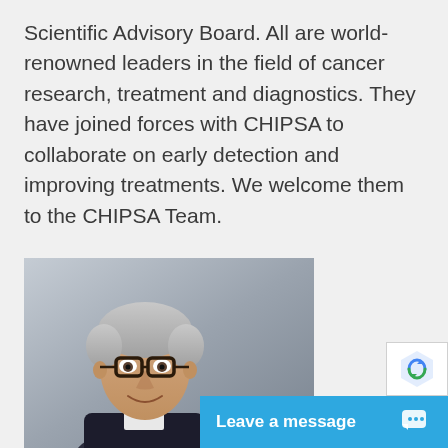Scientific Advisory Board. All are world-renowned leaders in the field of cancer research, treatment and diagnostics. They have joined forces with CHIPSA to collaborate on early detection and improving treatments. We welcome them to the CHIPSA Team.
[Figure (photo): Professional headshot of a middle-aged man with gray hair and dark-rimmed glasses, smiling, wearing a dark jacket, photographed against a gray background.]